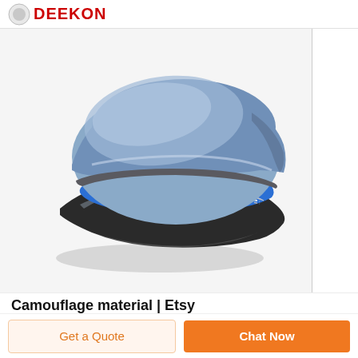DEEKON
[Figure (illustration): 3D rendered illustration of a blue military/police officer peaked cap with a smooth light blue crown, bright blue band, silver/white braided cord, black visor/brim with reflective surface, and a small gold button on the side.]
Camouflage material | Etsy
Camouflage Fabric / Olive Camo Fabric / Fall
Get a Quote
Chat Now